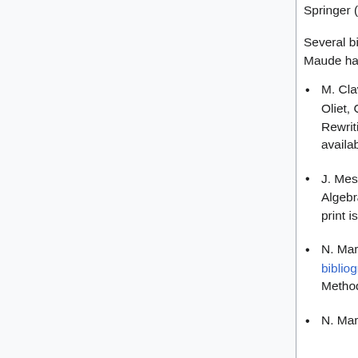Springer (2017)
Several bibliographies and surveys on rewriting logic and Maude have been published:
M. Clavel, F. Durán, S. Eker, S. Escobar, P. Lincoln, N. Martí-Oliet, C. L. Talcott: Two Decades of Maude. Logic, Rewriting, and Concurrency: 232-254 (2015). A pre-print is available here.
J. Meseguer: Twenty years of rewriting logic. J. Log. Algebraic Methods Program. 81(7-8): 721-781 (2012). A pre-print is available here.
N. Martí-Oliet, M. Palomino, A. Verdejo: Rewriting logic bibliography by topic: 1990–2011. J. Log. Algebraic Methods Program. 81: 782-815 (2012)
N. Martí-Oliet, J. Meseguer: